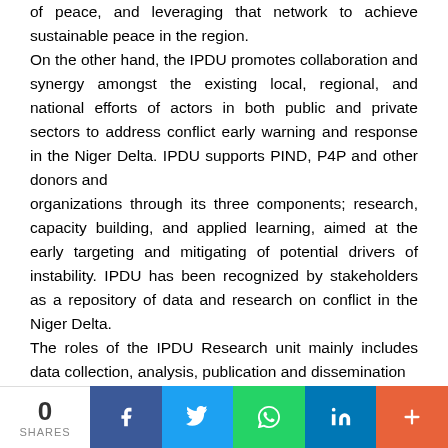of peace, and leveraging that network to achieve sustainable peace in the region. On the other hand, the IPDU promotes collaboration and synergy amongst the existing local, regional, and national efforts of actors in both public and private sectors to address conflict early warning and response in the Niger Delta. IPDU supports PIND, P4P and other donors and organizations through its three components; research, capacity building, and applied learning, aimed at the early targeting and mitigating of potential drivers of instability. IPDU has been recognized by stakeholders as a repository of data and research on conflict in the Niger Delta. The roles of the IPDU Research unit mainly includes data collection, analysis, publication and dissemination
0 SHARES | Facebook | Twitter | WhatsApp | LinkedIn | More